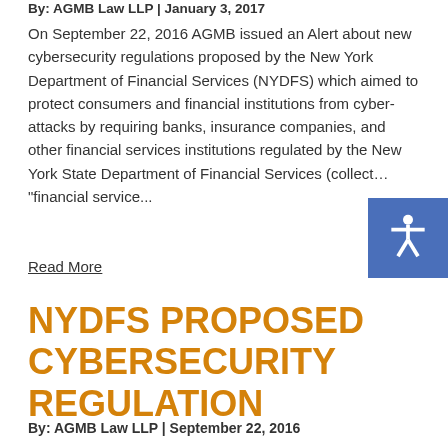By: AGMB Law LLP | January 3, 2017
On September 22, 2016 AGMB issued an Alert about new cybersecurity regulations proposed by the New York Department of Financial Services (NYDFS) which aimed to protect consumers and financial institutions from cyber-attacks by requiring banks, insurance companies, and other financial services institutions regulated by the New York State Department of Financial Services (collect… "financial service...
Read More
NYDFS PROPOSED CYBERSECURITY REGULATION
By: AGMB Law LLP | September 22, 2016